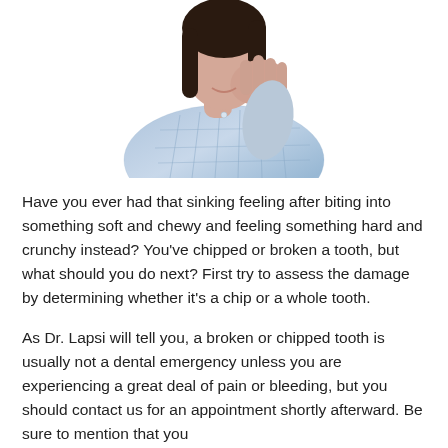[Figure (photo): A woman in a blue plaid shirt holding her jaw/cheek with her hand, appearing to be in dental pain, against a white background.]
Have you ever had that sinking feeling after biting into something soft and chewy and feeling something hard and crunchy instead? You've chipped or broken a tooth, but what should you do next? First try to assess the damage by determining whether it's a chip or a whole tooth.
As Dr. Lapsi will tell you, a broken or chipped tooth is usually not a dental emergency unless you are experiencing a great deal of pain or bleeding, but you should contact us for an appointment shortly afterward. Be sure to mention that you